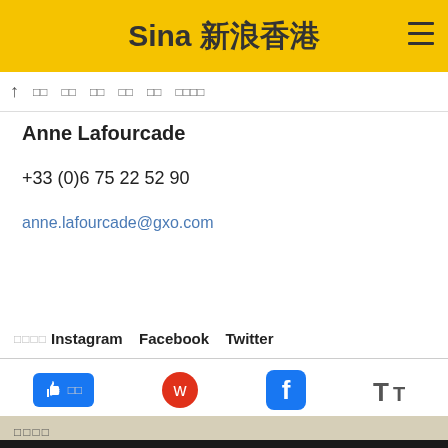[Figure (logo): Sina 新浪香港 logo with hamburger menu on yellow background]
↑ □□ □□ □□ □□ □□ □□□□
Anne Lafourcade
+33 (0)6 75 22 52 90
anne.lafourcade@gxo.com
□□□□Instagram  Facebook  Twitter
[Figure (screenshot): Social sharing buttons: Like button (blue), Weibo icon (red), Facebook icon (blue), text resize icon (TT)]
□□□□
[Figure (screenshot): Advertisement banner: HC salon logo with text 'View store hours, get directions, or call your salon!' and navigation arrow icon, with close button]